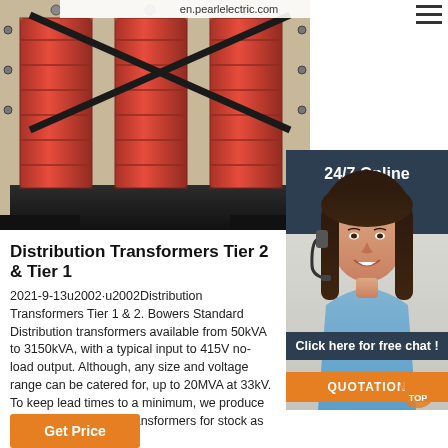en.pearlelectric.com
[Figure (photo): Red dry-type distribution transformer with three large red coils, dark metal frame and crossbar rods, photographed from the front]
[Figure (photo): Customer service agent (woman with headset) with 24/7 Online label and Click here for free chat button and QUOTATION button overlay]
Distribution Transformers Tier 2 & Tier 1
2021-9-13u2002·u2002Distribution Transformers Tier 1 & 2. Bowers Standard Distribution transformers available from 50kVA to 3150kVA, with a typical input to 415V no-load output. Although, any size and voltage range can be catered for, up to 20MVA at 33kV. To keep lead times to a minimum, we produce standard distribution transformers for stock as well as ...
Get Price